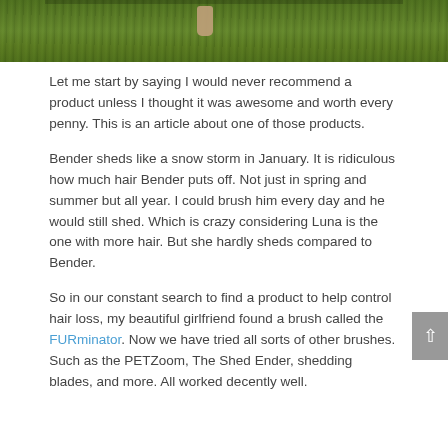[Figure (photo): Partial photo showing grass and what appears to be a dog or animal paw/leg, cropped at top of page]
Let me start by saying I would never recommend a product unless I thought it was awesome and worth every penny. This is an article about one of those products.
Bender sheds like a snow storm in January. It is ridiculous how much hair Bender puts off. Not just in spring and summer but all year. I could brush him every day and he would still shed. Which is crazy considering Luna is the one with more hair. But she hardly sheds compared to Bender.
So in our constant search to find a product to help control hair loss, my beautiful girlfriend found a brush called the FURminator. Now we have tried all sorts of other brushes. Such as the PETZoom, The Shed Ender, shedding blades, and more. All worked decently well.